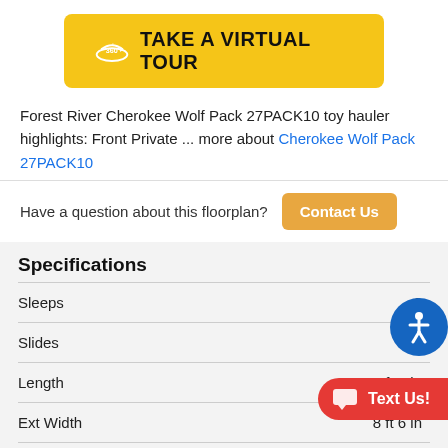[Figure (other): Yellow button with 360 icon and text TAKE A VIRTUAL TOUR]
Forest River Cherokee Wolf Pack 27PACK10 toy hauler highlights: Front Private ... more about Cherokee Wolf Pack 27PACK10
Have a question about this floorplan? Contact Us
Specifications
| Specification | Value |
| --- | --- |
| Sleeps | 8 |
| Slides | 1 |
| Length | 33 ft 9 in |
| Ext Width | 8 ft 6 in |
| Ext Height | 1... |
| Hitch Weight | 1310 lbs |